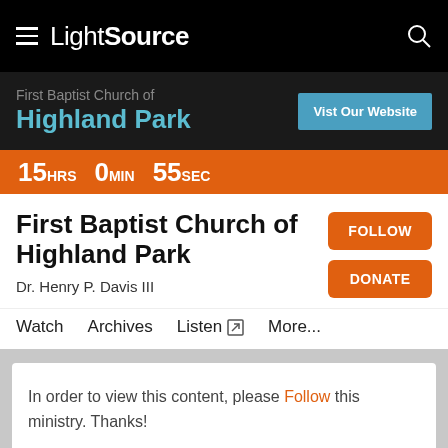LightSource
First Baptist Church of Highland Park
15HRS 0MIN 55SEC
First Baptist Church of Highland Park
Dr. Henry P. Davis III
FOLLOW
DONATE
Watch
Archives
Listen
More...
In order to view this content, please Follow this ministry. Thanks!